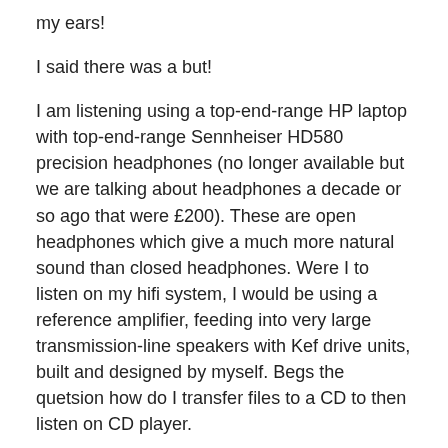my ears!
I said there was a but!
I am listening using a top-end-range HP laptop with top-end-range Sennheiser HD580 precision headphones (no longer available but we are talking about headphones a decade or so ago that were £200). These are open headphones which give a much more natural sound than closed headphones. Were I to listen on my hifi system, I would be using a reference amplifier, feeding into very large transmission-line speakers with Kef drive units, built and designed by myself. Begs the quetsion how do I transfer files to a CD to then listen on CD player.
Note: Linn recomend a digital connection to amplifier (assumes digital input on amplifier) or a usb converter (line output via phono):